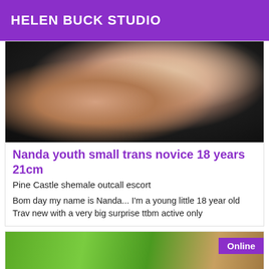HELEN BUCK STUDIO
[Figure (photo): Close-up photo of a person in black lace lingerie]
Nanda youth small trans novice 18 years 21cm
Pine Castle shemale outcall escort
Bom day my name is Nanda... I'm a young little 18 year old Trav new with a very big surprise ttbm active only
[Figure (photo): Photo with green background and brown/tan figure, Online badge in top right corner]